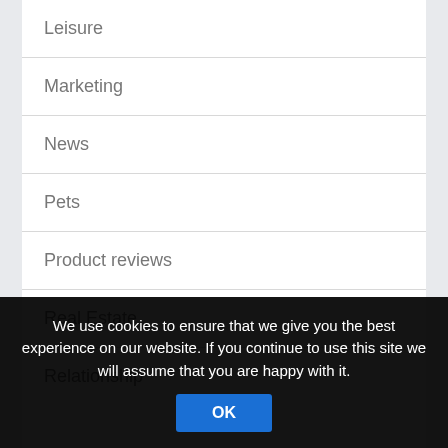Leisure
Marketing
News
Pets
Product reviews
Real Estate
Relationship
We use cookies to ensure that we give you the best experience on our website. If you continue to use this site we will assume that you are happy with it.
OK